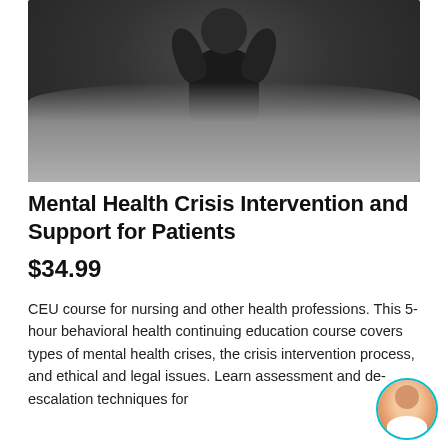[Figure (photo): Grayscale photo of a person sitting cross-legged on a bed, appearing distressed, in a dimly lit room]
Mental Health Crisis Intervention and Support for Patients
$34.99
CEU course for nursing and other health professions. This 5-hour behavioral health continuing education course covers types of mental health crises, the crisis intervention process, and ethical and legal issues. Learn assessment and de-escalation techniques for